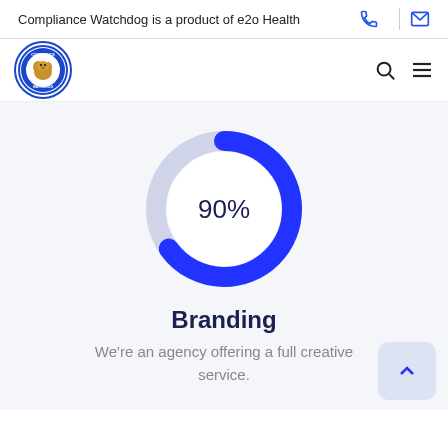Compliance Watchdog is a product of e2o Health
[Figure (logo): Compliance Watchdog circular logo with dog illustration, blue border]
[Figure (donut-chart): Branding]
Branding
We're an agency offering a full creative service.